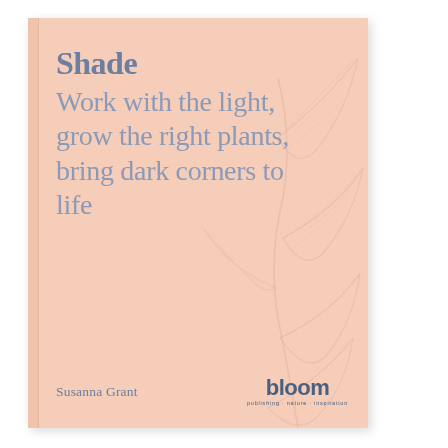[Figure (illustration): Book cover with peach/salmon background color, decorative outline leaves/plant illustration on the right side, and a narrow spine on the left edge]
Shade Work with the light, grow the right plants, bring dark corners to life
Susanna Grant
[Figure (logo): bloom publisher logo with tagline]